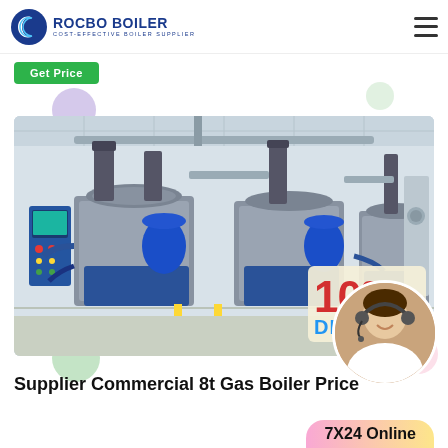[Figure (logo): Rocbo Boiler logo with circular C icon and text 'ROCBO BOILER - COST-EFFECTIVE BOILER SUPPLIER' in blue]
Get Price
[Figure (photo): Industrial boiler room showing multiple large gas boilers in gray and blue, with piping, control panels, and equipment in a clean facility. A 10% DISCOUNT badge overlays the bottom right of the image. A female customer support agent wearing a headset appears in a circular portrait overlay at the bottom right corner.]
Supplier Commercial 8t Gas Boiler Price
7X24 Online